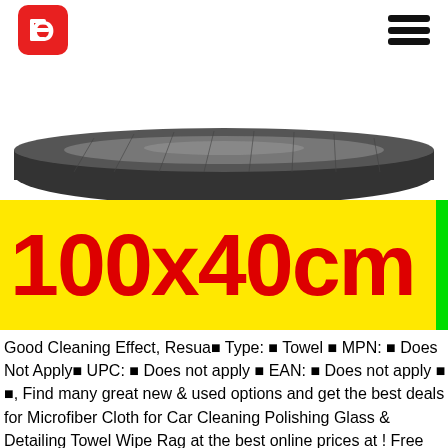Logo and hamburger menu
[Figure (photo): Rolled dark grey microfiber cloth viewed from above, partially visible at top of image]
100x40cm
Good Cleaning Effect, Resua■ Type: ■ Towel ■ MPN: ■ Does Not Apply■ UPC: ■ Does not apply ■ EAN: ■ Does not apply ■ ■, Find many great new & used options and get the best deals for Microfiber Cloth for Car Cleaning Polishing Glass & Detailing Towel Wipe Rag at the best online prices at ! Free shipping for many products!. Condition:■ New: A brand-new, undamaged item in its original packaging (where packaging